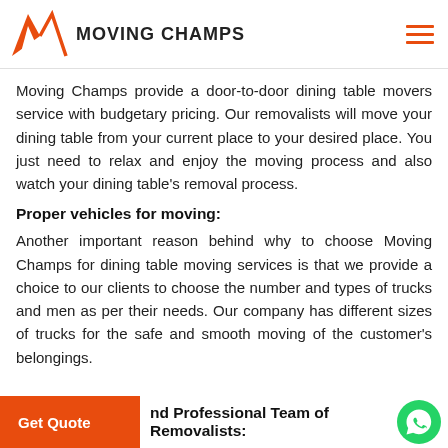MOVING CHAMPS
Moving Champs provide a door-to-door dining table movers service with budgetary pricing. Our removalists will move your dining table from your current place to your desired place. You just need to relax and enjoy the moving process and also watch your dining table's removal process.
Proper vehicles for moving:
Another important reason behind why to choose Moving Champs for dining table moving services is that we provide a choice to our clients to choose the number and types of trucks and men as per their needs. Our company has different sizes of trucks for the safe and smooth moving of the customer's belongings.
nd Professional Team of Removalists:
Moving Champs is proud of its friendly and professional